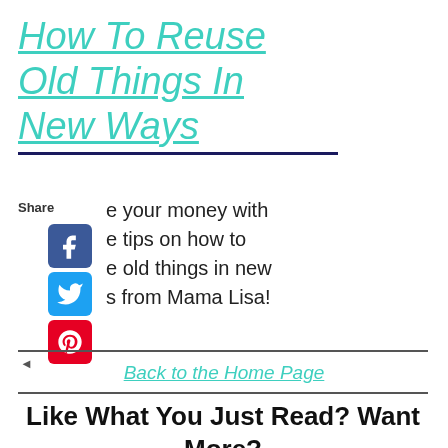How To Reuse Old Things In New Ways
e your money with e tips on how to e old things in new s from Mama Lisa!
Back to the Home Page
Like What You Just Read? Want More?